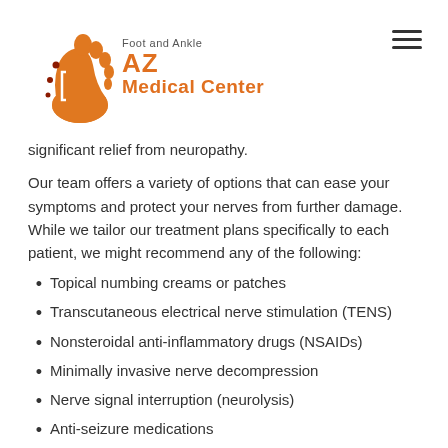[Figure (logo): AZ Foot and Ankle Medical Center logo with orange foot graphic and text]
significant relief from neuropathy.
Our team offers a variety of options that can ease your symptoms and protect your nerves from further damage. While we tailor our treatment plans specifically to each patient, we might recommend any of the following:
Topical numbing creams or patches
Transcutaneous electrical nerve stimulation (TENS)
Nonsteroidal anti-inflammatory drugs (NSAIDs)
Minimally invasive nerve decompression
Nerve signal interruption (neurolysis)
Anti-seizure medications